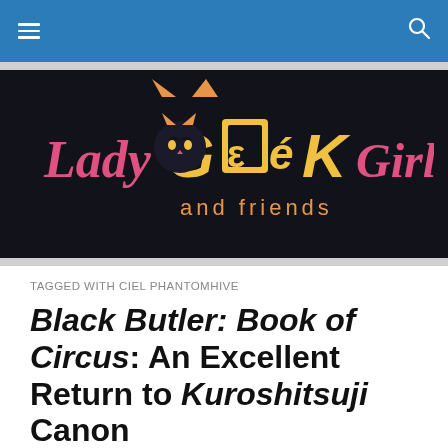Navigation bar with hamburger menu and search icon
[Figure (logo): Lady Geek Girl and friends logo — stylized text on dark background with cat ears motif]
TAGGED WITH CIEL PHANTOMHIVE
Black Butler: Book of Circus: An Excellent Return to Kuroshitsuji Canon
If you haven't heard of Black Butler (aka Kuroshitsuji), first